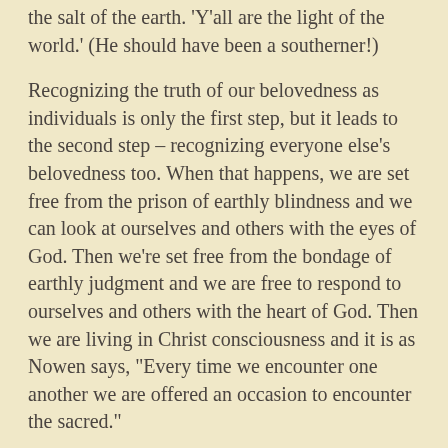the salt of the earth. 'Y'all are the light of the world.' (He should have been a southerner!)
Recognizing the truth of our belovedness as individuals is only the first step, but it leads to the second step – recognizing everyone else's belovedness too. When that happens, we are set free from the prison of earthly blindness and we can look at ourselves and others with the eyes of God. Then we're set free from the bondage of earthly judgment and we are free to respond to ourselves and others with the heart of God. Then we are living in Christ consciousness and it is as Nowen says, "Every time we encounter one another we are offered an occasion to encounter the sacred."
The church, our church, is a place where the truth of everyone's belovedness is intentionally and even counter-culturally lived out. When the world blames and excludes someone for being poor and hungry, we welcome them into our midst and feed them: food and friendship. When the world derides someone for whom they love, we celebrate that God is the author of all love.